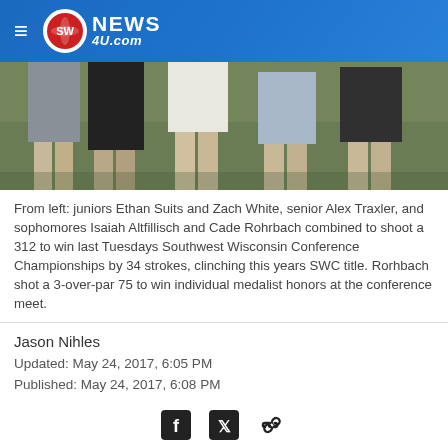SW NEWS 4U.com
[Figure (photo): Photo showing legs of five golfers standing on grass, cropped at waist level]
From left: juniors Ethan Suits and Zach White, senior Alex Traxler, and sophomores Isaiah Altfillisch and Cade Rohrbach combined to shoot a 312 to win last Tuesdays Southwest Wisconsin Conference Championships by 34 strokes, clinching this years SWC title. Rorhbach shot a 3-over-par 75 to win individual medalist honors at the conference meet.
Jason Nihles
Updated: May 24, 2017, 6:05 PM
Published: May 24, 2017, 6:08 PM
[Figure (infographic): Social sharing icons: Facebook, Twitter, Link/chain]
REEDSBURG — Last Tuesday's Southwest Wisconsin